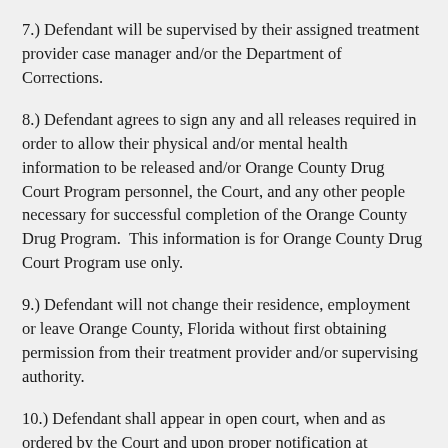7.) Defendant will be supervised by their assigned treatment provider case manager and/or the Department of Corrections.
8.) Defendant agrees to sign any and all releases required in order to allow their physical and/or mental health information to be released and/or Orange County Drug Court Program personnel, the Court, and any other people necessary for successful completion of the Orange County Drug Program.  This information is for Orange County Drug Court Program use only.
9.) Defendant will not change their residence, employment or leave Orange County, Florida without first obtaining permission from their treatment provider and/or supervising authority.
10.) Defendant shall appear in open court, when and as ordered by the Court and upon proper notification at Defendant’s last known address.  Failure to appear in court shall constitute a violation of the Orange County Drug Court Program.  Defendant acknowledges that they may be terminated from the Orange